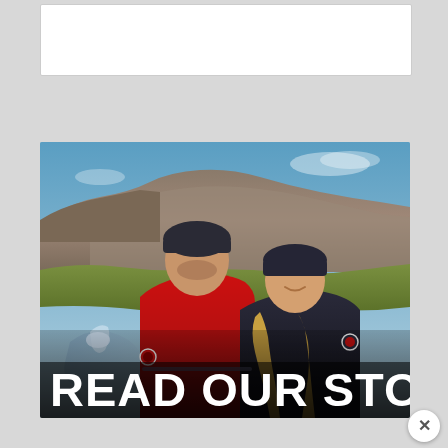[Figure (photo): Two people (a man in a red jacket and dark beanie, and a woman in a dark puffer jacket and dark knit hat) smiling outdoors in front of a dramatic rocky cliff landscape with a waterfall and river in Iceland. Both wearing Canada Goose branded items. Large white bold text overlay at bottom reads 'READ OUR STORY'.]
READ OUR STORY